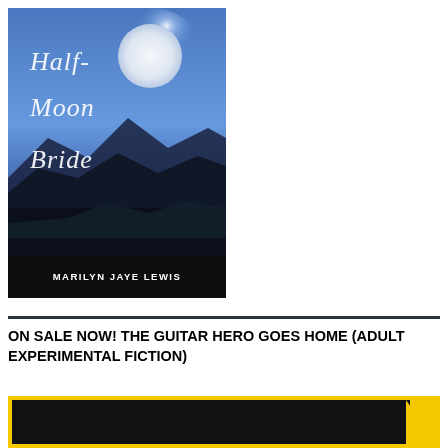[Figure (illustration): Book cover for 'Half-Moon Bride' by Marilyn Jaye Lewis. Features a night sky with a large full moon against a blue gradient background, with dark mountain silhouettes in the lower half. The title is written in white cursive script and the author name appears in white sans-serif text at the bottom on a dark band.]
ON SALE NOW! THE GUITAR HERO GOES HOME (ADULT EXPERIMENTAL FICTION)
[Figure (other): A yellow banner/box with a black rectangle inside and a yellow triangle on the lower right, suggesting a video play button or promotional graphic.]